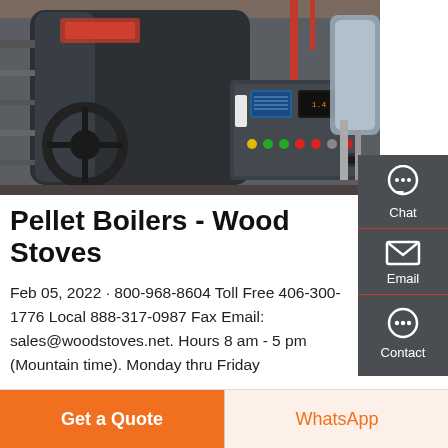[Figure (photo): Industrial pellet boiler / wood stove machinery with control panel, display screens, colored indicator lights, and piping in a factory setting]
Pellet Boilers - Wood Stoves
Feb 05, 2022 · 800-968-8604 Toll Free 406-300-1776 Local 888-317-0987 Fax Email: sales@woodstoves.net. Hours 8 am - 5 pm (Mountain time). Monday thru Friday